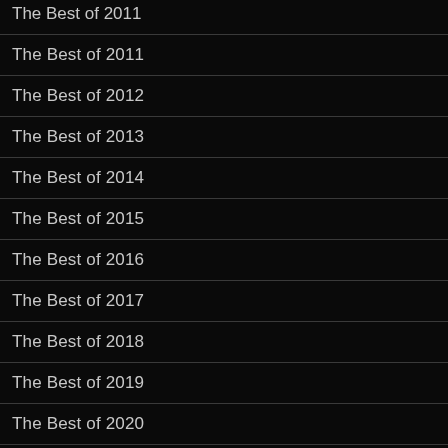The Best of 2011
The Best of 2011
The Best of 2012
The Best of 2013
The Best of 2014
The Best of 2015
The Best of 2016
The Best of 2017
The Best of 2018
The Best of 2019
The Best of 2020
The Best of 2021
Cause